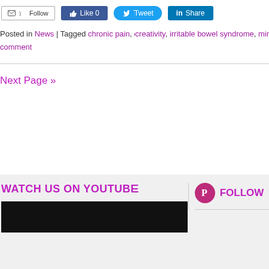Follow | Like 0 | Tweet | Share
Posted in News | Tagged chronic pain, creativity, irritable bowel syndrome, mind... comment
Next Page »
WATCH US ON YOUTUBE
[Figure (screenshot): Black video player placeholder]
FOLLOW